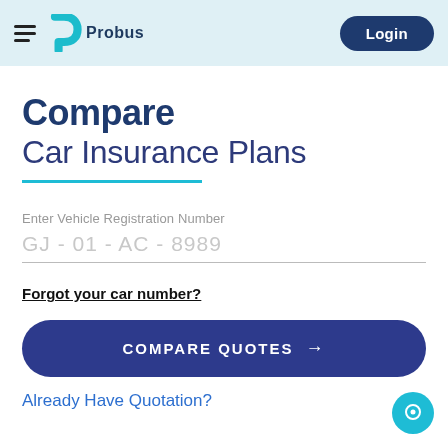Probus | Login
Compare Car Insurance Plans
Enter Vehicle Registration Number
GJ - 01 - AC - 8989
Forgot your car number?
COMPARE QUOTES →
Already Have Quotation?